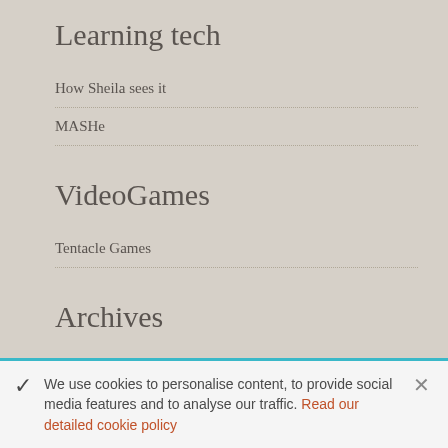Learning tech
How Sheila sees it
MASHe
VideoGames
Tentacle Games
Archives
February 2017
We use cookies to personalise content, to provide social media features and to analyse our traffic. Read our detailed cookie policy